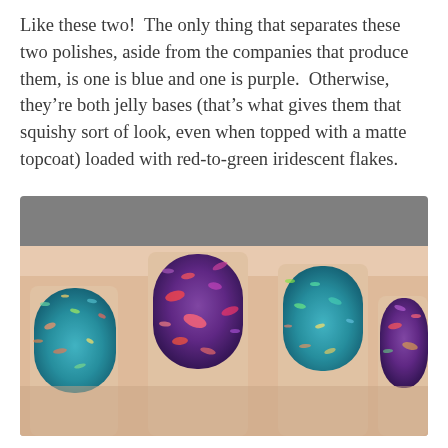Like these two!  The only thing that separates these two polishes, aside from the companies that produce them, is one is blue and one is purple.  Otherwise, they’re both jelly bases (that’s what gives them that squishy sort of look, even when topped with a matte topcoat) loaded with red-to-green iridescent flakes.
[Figure (photo): A close-up photograph of a hand showing four fingernails painted in iridescent glitter nail polishes. Two nails are painted in a blue jelly base and two in a purple jelly base, both covered with red-to-green iridescent flakes that shimmer with multicolored sparkle.]